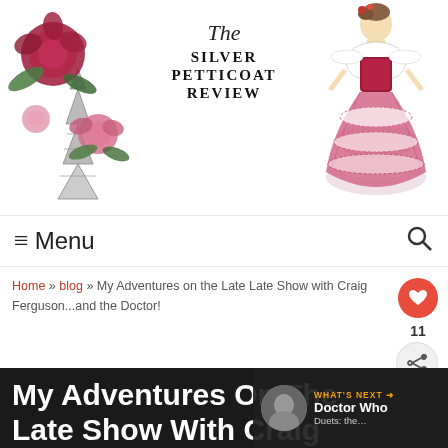[Figure (logo): The Silver Petticoat Review logo: left side has watercolor roses and Eiffel Tower illustration; center has script 'The' and bold serif 'Silver Petticoat Review'; right side has illustration of woman in Victorian pink layered dress]
≡ Menu
Home » blog » My Adventures on the Late Late Show with Craig Ferguson...and the Doctor!
My Adventures On The Late Show With Craig